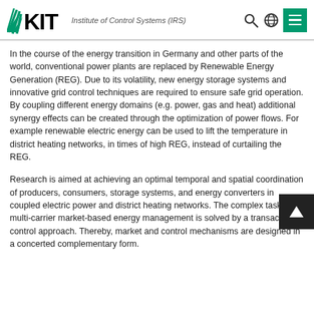KIT Institute of Control Systems (IRS)
In the course of the energy transition in Germany and other parts of the world, conventional power plants are replaced by Renewable Energy Generation (REG). Due to its volatility, new energy storage systems and innovative grid control techniques are required to ensure safe grid operation. By coupling different energy domains (e.g. power, gas and heat) additional synergy effects can be created through the optimization of power flows. For example renewable electric energy can be used to lift the temperature in district heating networks, in times of high REG, instead of curtailing the REG.
Research is aimed at achieving an optimal temporal and spatial coordination of producers, consumers, storage systems, and energy converters in coupled electric power and district heating networks. The complex task of multi-carrier market-based energy management is solved by a transactive control approach. Thereby, market and control mechanisms are designed in a concerted complementary form.